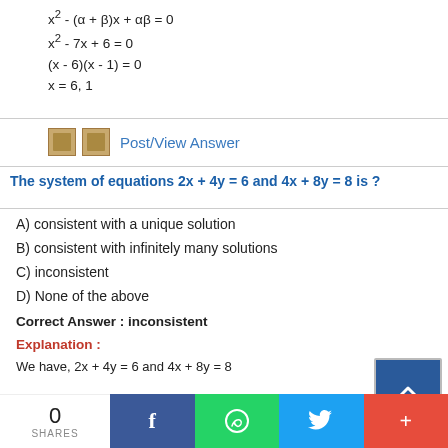Post/View Answer
The system of equations 2x + 4y = 6 and 4x + 8y = 8 is ?
A) consistent with a unique solution
B) consistent with infinitely many solutions
C) inconsistent
D) None of the above
Correct Answer : inconsistent
Explanation :
We have, 2x + 4y = 6 and 4x + 8y = 8
a1 = 2, b1 = 4, c1 = -6
0 SHARES